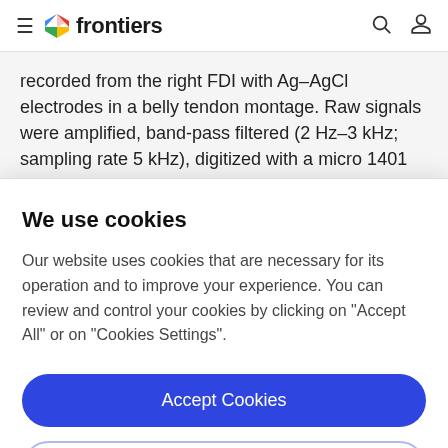frontiers
recorded from the right FDI with Ag–AgCl electrodes in a belly tendon montage. Raw signals were amplified, band-pass filtered (2 Hz–3 kHz; sampling rate 5 kHz), digitized with a micro 1401 AD converter (Cambridge Electronic Design, Cambridge, UK) controlled by Signal Software
We use cookies
Our website uses cookies that are necessary for its operation and to improve your experience. You can review and control your cookies by clicking on "Accept All" or on "Cookies Settings".
Accept Cookies
Cookies Settings